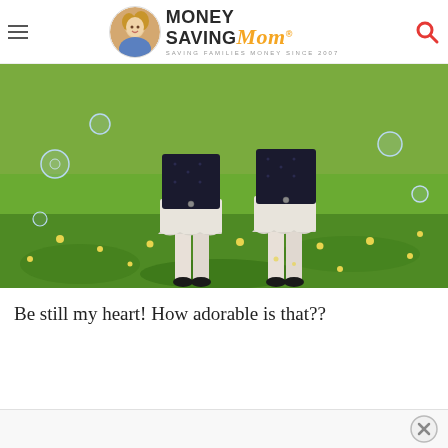Money Saving Mom® — SAVING FAMILIES MONEY SINCE 2007
[Figure (photo): Two young girls in dark dresses with white lace underskirts and white leggings standing in a green field with yellow dandelions and soap bubbles floating around them]
Be still my heart! How adorable is that??